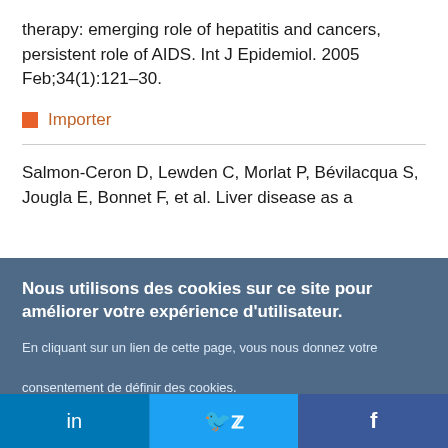therapy: emerging role of hepatitis and cancers, persistent role of AIDS. Int J Epidemiol. 2005 Feb;34(1):121–30.
Importer
Salmon-Ceron D, Lewden C, Morlat P, Bévilacqua S, Jougla E, Bonnet F, et al. Liver disease as a
Nous utilisons des cookies sur ce site pour améliorer votre expérience d'utilisateur.
En cliquant sur un lien de cette page, vous nous donnez votre consentement de définir des cookies.
Oui, je suis d'accord
Plus d'infos